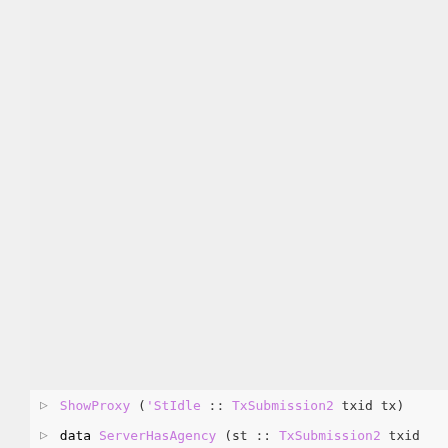▷ ShowProxy ('StIdle :: TxSubmission2 txid tx)
▷ data ServerHasAgency (st :: TxSubmission2 txid